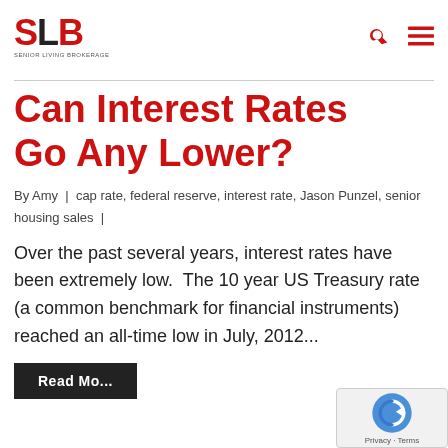SLB logo and navigation
Can Interest Rates Go Any Lower?
By Amy | cap rate, federal reserve, interest rate, Jason Punzel, senior housing sales |
Over the past several years, interest rates have been extremely low. The 10 year US Treasury rate (a common benchmark for financial instruments) reached an all-time low in July, 2012...